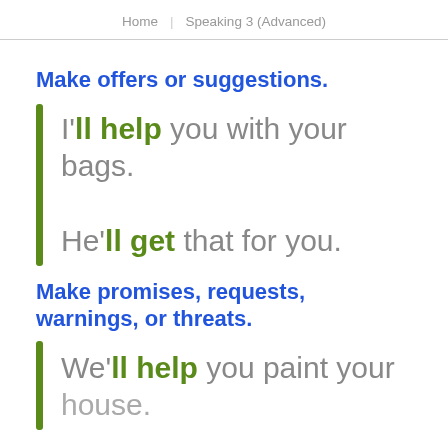Home | Speaking 3 (Advanced)
Make offers or suggestions.
I'll help you with your bags.
He'll get that for you.
Make promises, requests, warnings, or threats.
We'll help you paint your house.